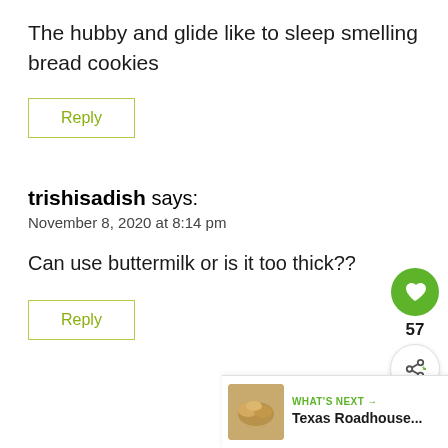The hubby and glide like to sleep smelling bread cookies
Reply
trishisadish says:
November 8, 2020 at 8:14 pm
Can use buttermilk or is it too thick??
Reply
WHAT'S NEXT → Texas Roadhouse...